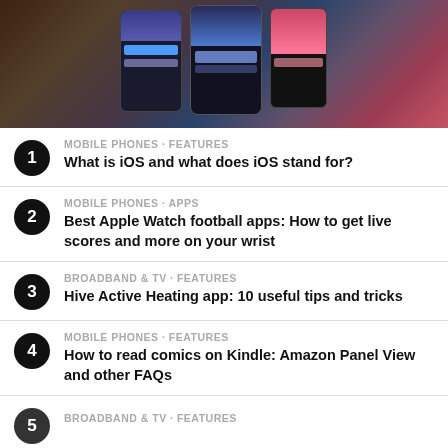[Figure (photo): Photo of multiple smartphones laid out on a wooden surface, showing various app screens]
MOBILE PHONES · FEATURES
What is iOS and what does iOS stand for?
MOBILE PHONES · APPS
Best Apple Watch football apps: How to get live scores and more on your wrist
BROADBAND & TV · FEATURES
Hive Active Heating app: 10 useful tips and tricks
MOBILE PHONES · FEATURES
How to read comics on Kindle: Amazon Panel View and other FAQs
BROADBAND & TV · FEATURES